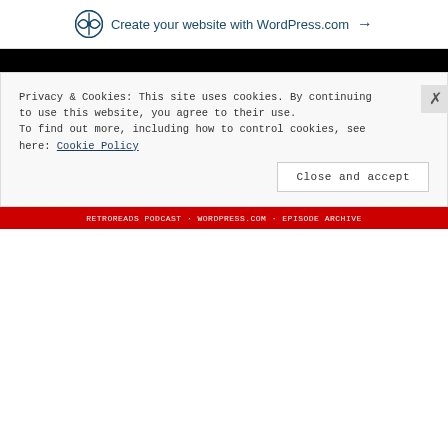Create your website with WordPress.com →
RetroReads Podcast
Author: retroreadspod
Privacy & Cookies: This site uses cookies. By continuing to use this website, you agree to their use.
To find out more, including how to control cookies, see here: Cookie Policy
Close and accept